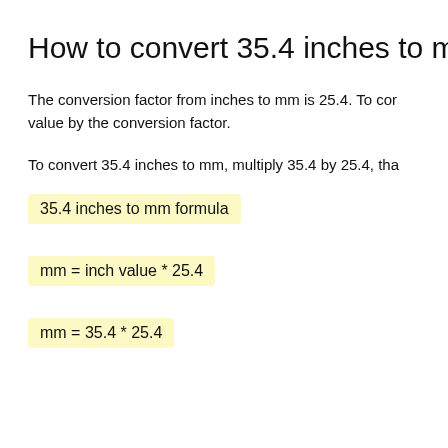How to convert 35.4 inches to mm?
The conversion factor from inches to mm is 25.4. To convert value by the conversion factor.
To convert 35.4 inches to mm, multiply 35.4 by 25.4, tha